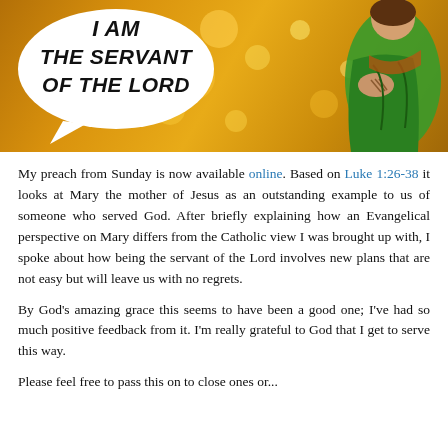[Figure (illustration): Illustration of Mary in a green robe standing against a golden bokeh background, with a white speech bubble on the left reading 'I AM THE SERVANT OF THE LORD' in bold italic uppercase text.]
My preach from Sunday is now available online. Based on Luke 1:26-38 it looks at Mary the mother of Jesus as an outstanding example to us of someone who served God. After briefly explaining how an Evangelical perspective on Mary differs from the Catholic view I was brought up with, I spoke about how being the servant of the Lord involves new plans that are not easy but will leave us with no regrets.
By God's amazing grace this seems to have been a good one; I've had so much positive feedback from it. I'm really grateful to God that I get to serve this way.
Please feel free to pass this on to close ones or...